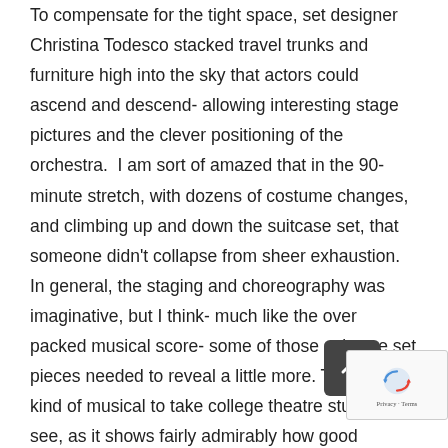To compensate for the tight space, set designer Christina Todesco stacked travel trunks and furniture high into the sky that actors could ascend and descend- allowing interesting stage pictures and the clever positioning of the orchestra.  I am sort of amazed that in the 90-minute stretch, with dozens of costume changes, and climbing up and down the suitcase set, that someone didn't collapse from sheer exhaustion. In general, the staging and choreography was imaginative, but I think- much like the over packed musical score- some of those suitcase set pieces needed to reveal a little more. This is the kind of musical to take college theatre students to see, as it shows fairly admirably how good ensemble work and complex choreography work.  The show runs at the Lyric Stage until February 17th.